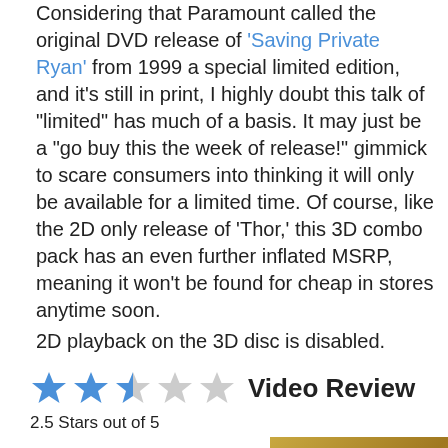Considering that Paramount called the original DVD release of 'Saving Private Ryan' from 1999 a special limited edition, and it's still in print, I highly doubt this talk of "limited" has much of a basis. It may just be a "go buy this the week of release!" gimmick to scare consumers into thinking it will only be available for a limited time. Of course, like the 2D only release of 'Thor,' this 3D combo pack has an even further inflated MSRP, meaning it won't be found for cheap in stores anytime soon.
2D playback on the 3D disc is disabled.
★★☆☆☆  Video Review
2.5 Stars out of 5
[Figure (photo): Partial photo of a decorative golden/bronze surface with ornate patterns]